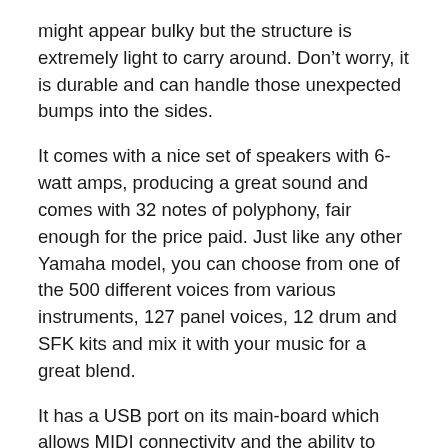might appear bulky but the structure is extremely light to carry around. Don’t worry, it is durable and can handle those unexpected bumps into the sides.
It comes with a nice set of speakers with 6-watt amps, producing a great sound and comes with 32 notes of polyphony, fair enough for the price paid. Just like any other Yamaha model, you can choose from one of the 500 different voices from various instruments, 127 panel voices, 12 drum and SFK kits and mix it with your music for a great blend.
It has a USB port on its main-board which allows MIDI connectivity and the ability to transfer music files to-and-from your computer or laptop. You can also download recorded songs from the Internet on a USB flash memory, connect it your piano and transfer it with ease.